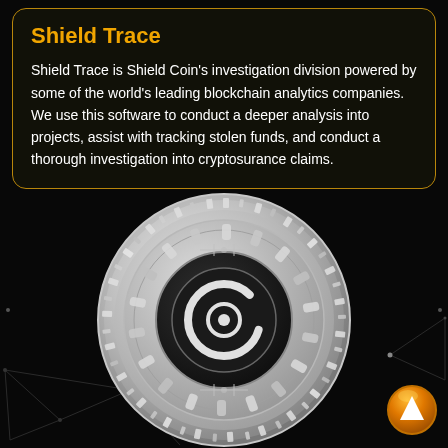Shield Trace
Shield Trace is Shield Coin's investigation division powered by some of the world's leading blockchain analytics companies. We use this software to conduct a deeper analysis into projects, assist with tracking stolen funds, and conduct a thorough investigation into cryptosurance claims.
[Figure (illustration): Silver Shield Coin cryptocurrency coin with binary digits around the edge, concentric rings, and a stylized C logo in the center on a black background with network/triangle lines in the background. An orange circular up-arrow button appears in the bottom right.]